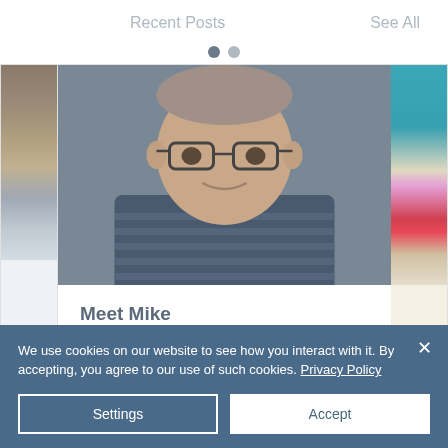Recent Posts
See All
[Figure (photo): Man with glasses smiling, wearing a striped shirt. Partial cards visible on left and right sides.]
Meet Mike
We use cookies on our website to see how you interact with it. By accepting, you agree to our use of such cookies. Privacy Policy
Settings
Accept